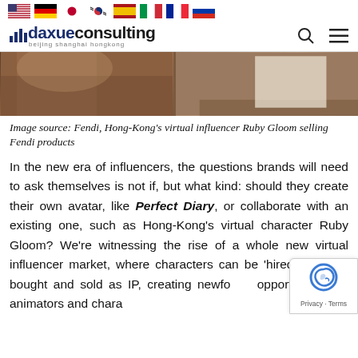Flags: US, Germany, Japan, South Korea, Spain, Italy, France, Russia | daxue consulting | search | menu
[Figure (photo): Two-panel image: left panel shows a person in Fendi patterned clothing, right panel shows a person with white paper/board on a tiled floor.]
Image source: Fendi, Hong-Kong's virtual influencer Ruby Gloom selling Fendi products
In the new era of influencers, the questions brands will need to ask themselves is not if, but what kind: should they create their own avatar, like Perfect Diary, or collaborate with an existing one, such as Hong-Kong's virtual character Ruby Gloom? We're witnessing the rise of a whole new virtual influencer market, where characters can be 'hired', 'rented', bought and sold as IP, creating newfound opportunities for animators and character